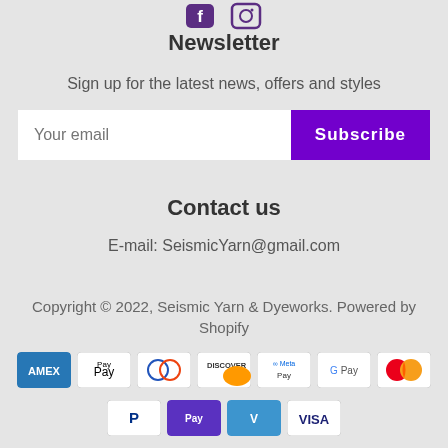[Figure (logo): Social media icons — Facebook and Instagram in purple/dark color at top center]
Newsletter
Sign up for the latest news, offers and styles
Your email [input field] Subscribe [button]
Contact us
E-mail: SeismicYarn@gmail.com
Copyright © 2022, Seismic Yarn & Dyeworks. Powered by Shopify
[Figure (logo): Payment method icons: American Express, Apple Pay, Diners Club, Discover, Meta Pay, Google Pay, Mastercard, PayPal, Shop Pay, Venmo, Visa]